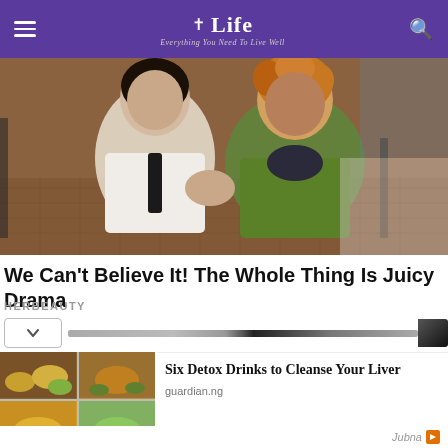Life — Everything You Need To Live Well
[Figure (photo): Two young women posing together on a wooden floor in what appears to be a studio setting. One wearing a white shirt, the other in a green jacket, both looking at camera.]
We Can't Believe It! The Whole Thing Is Juicy Drama
HERBEAUTY
[Figure (photo): Four-panel image grid showing various detox drinks and herbal teas with lemon and herbs.]
Six Detox Drinks to Cleanse Your Liver
guardian.ng
Jubna